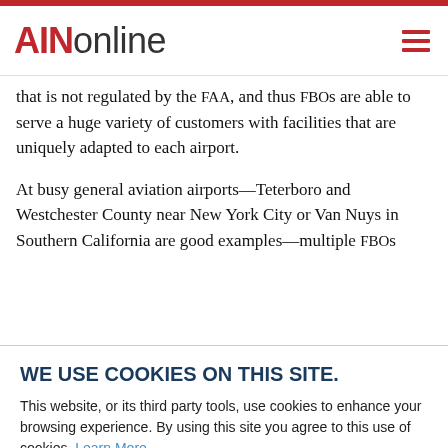AINonline
that is not regulated by the FAA, and thus FBOs are able to serve a huge variety of customers with facilities that are uniquely adapted to each airport.
At busy general aviation airports—Teterboro and Westchester County near New York City or Van Nuys in Southern California are good examples—multiple FBOs
WE USE COOKIES ON THIS SITE.
This website, or its third party tools, use cookies to enhance your browsing experience. By using this site you agree to this use of cookies. Learn More
ACCEPT